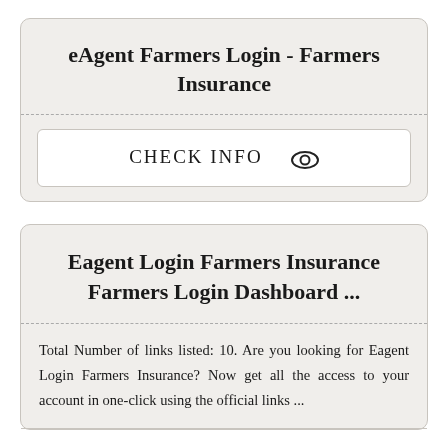eAgent Farmers Login - Farmers Insurance
CHECK INFO
Eagent Login Farmers Insurance Farmers Login Dashboard ...
Total Number of links listed: 10. Are you looking for Eagent Login Farmers Insurance? Now get all the access to your account in one-click using the official links ...